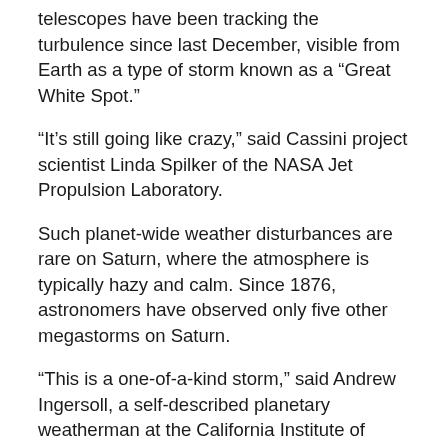telescopes have been tracking the turbulence since last December, visible from Earth as a type of storm known as a “Great White Spot.”
“It’s still going like crazy,” said Cassini project scientist Linda Spilker of the NASA Jet Propulsion Laboratory.
Such planet-wide weather disturbances are rare on Saturn, where the atmosphere is typically hazy and calm. Since 1876, astronomers have observed only five other megastorms on Saturn.
“This is a one-of-a-kind storm,” said Andrew Ingersoll, a self-described planetary weatherman at the California Institute of Technology, who was part of the discovery team.
Scientists have long studied weather on other planets.